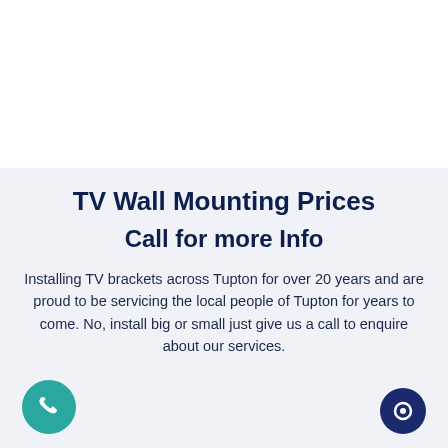TV Wall Mounting Prices
Call for more Info
Installing TV brackets across Tupton for over 20 years and are proud to be servicing the local people of Tupton for years to come. No, install big or small just give us a call to enquire about our services.